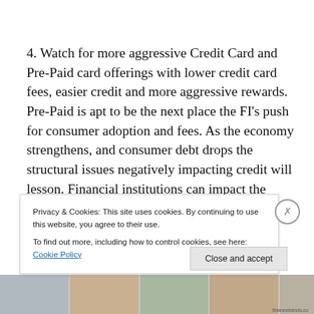4. Watch for more aggressive Credit Card and Pre-Paid card offerings with lower credit card fees, easier credit and more aggressive rewards. Pre-Paid is apt to be the next place the FI's push for consumer adoption and fees. As the economy strengthens, and consumer debt drops the structural issues negatively impacting credit will lesson. Financial institutions can impact the consumer's attitude t...
Privacy & Cookies: This site uses cookies. By continuing to use this website, you agree to their use. To find out more, including how to control cookies, see here: Cookie Policy
Close and accept